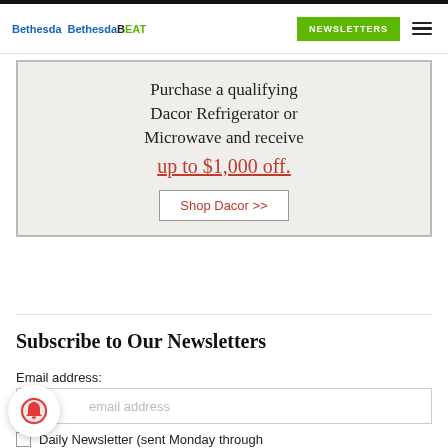Bethesda Bethesda BEAT | NEWSLETTERS
[Figure (infographic): Advertisement banner: Purchase a qualifying Dacor Refrigerator or Microwave and receive up to $1,000 off. Shop Dacor >>]
Subscribe to Our Newsletters
Email address:
email address
Daily Newsletter (sent Monday through